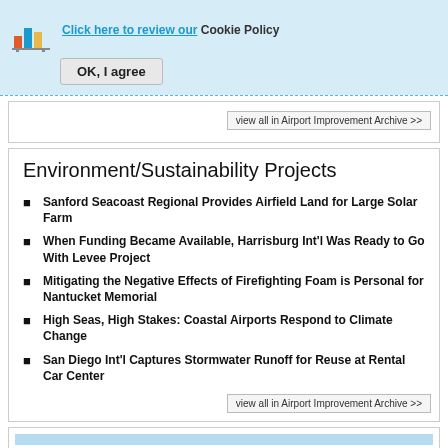Click here to review our Cookie Policy  OK, I agree
view all in Airport Improvement Archive >>
Environment/Sustainability Projects
Sanford Seacoast Regional Provides Airfield Land for Large Solar Farm
When Funding Became Available, Harrisburg Int'l Was Ready to Go With Levee Project
Mitigating the Negative Effects of Firefighting Foam is Personal for Nantucket Memorial
High Seas, High Stakes: Coastal Airports Respond to Climate Change
San Diego Int'l Captures Stormwater Runoff for Reuse at Rental Car Center
view all in Airport Improvement Archive >>